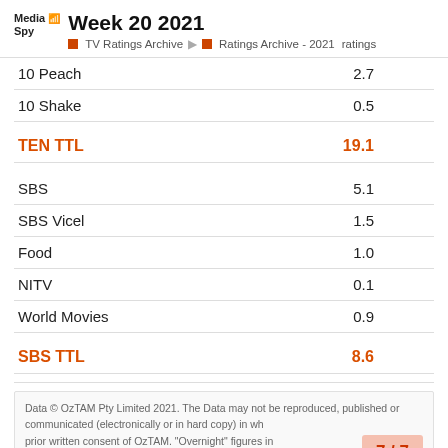Week 20 2021 | TV Ratings Archive | Ratings Archive - 2021 ratings
| Channel | Rating |
| --- | --- |
| 10 Peach | 2.7 |
| 10 Shake | 0.5 |
| TEN TTL | 19.1 |
| SBS | 5.1 |
| SBS Vicel | 1.5 |
| Food | 1.0 |
| NITV | 0.1 |
| World Movies | 0.9 |
| SBS TTL | 8.6 |
Data © OzTAM Pty Limited 2021. The Data may not be reproduced, published or communicated (electronically or in hard copy) in whole or in part without the prior written consent of OzTAM. "Overnight" figures in
7 / 7